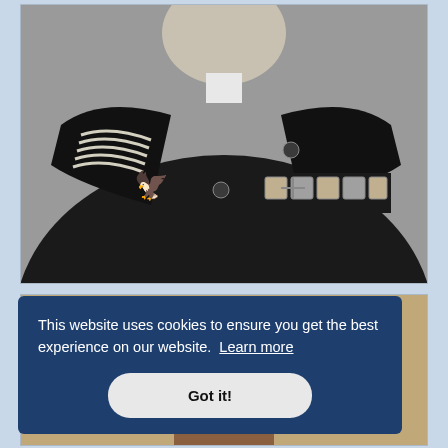[Figure (photo): Black and white photograph of a military officer in uniform with medals, insignia, epaulettes, and decorations including what appears to be an Iron Cross. The image shows the upper torso and head of the figure.]
This website uses cookies to ensure you get the best experience on our website. Learn more
Got it!
[Figure (photo): Partial color photograph visible below the cookie consent banner, appears to show another person in uniform or formal attire, mostly obscured.]